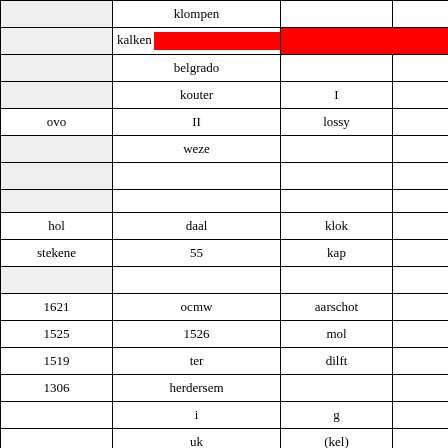|  | klompen |  |  |
|  | kalken [red] |  |  |
|  | belgrado |  |  |
|  | kouter | I |  |
| ovo | II | lossy |  |
|  | weze |  |  |
|  |  |  |  |
|  |  |  |  |
| hol | daal | klok |  |
| stekene | 55 | kap |  |
|  |  |  |  |
| 1621 | ocmw | aarschot |  |
| 1525 | 1526 | mol |  |
| 1519 | ter | dilft |  |
| 1306 | herdersem |  |  |
|  | i | g |  |
|  | uk | (kel) |  |
|  |  |  |  |
|  |  |  |  |
|  |  |  |  |
|  |  |  |  |
|  |  |  |  |